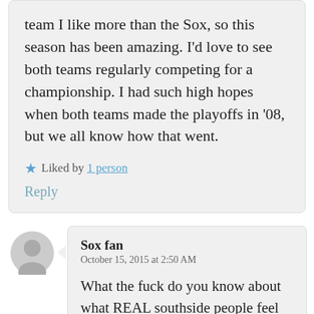team I like more than the Sox, so this season has been amazing. I'd love to see both teams regularly competing for a championship. I had such high hopes when both teams made the playoffs in '08, but we all know how that went.
★ Liked by 1 person
Reply
Sox fan
October 15, 2015 at 2:50 AM
What the fuck do you know about what REAL southside people feel about the Cubs. By reading this